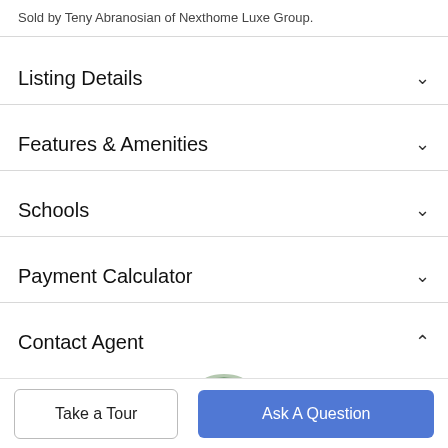Sold by Teny Abranosian of Nexthome Luxe Group.
Listing Details
Features & Amenities
Schools
Payment Calculator
Contact Agent
[Figure (photo): Circular profile photo of a smiling woman with blonde hair, set against a green leafy background.]
Take a Tour
Ask A Question